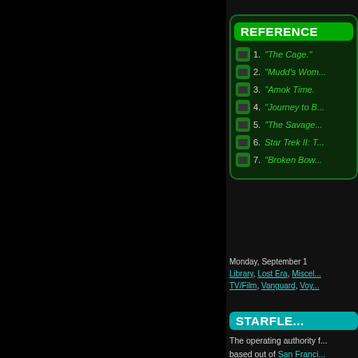REFERENCE
1. "The Cage."
2. "Mudd's Wom...
3. "Amok Time."
4. "Journey to B...
5. "The Savage...
6. Star Trek II: T...
7. "Broken Bow...
Monday, September 1 Library, Lost Era, Miscel... TV/Film, Vanguard, Voy...
STARFLE...
The operating authority f... based out of San Franci... facilities were also locate... throughout Federatio...